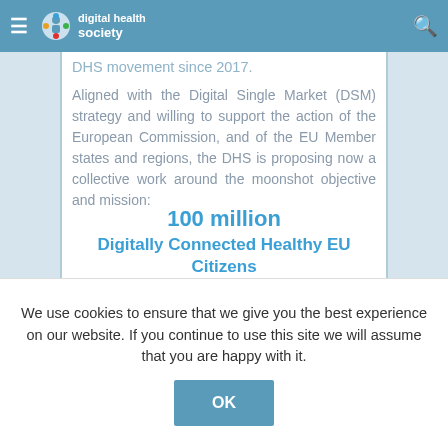Digital Health Society navigation bar
DHS movement since 2017.
Aligned with the Digital Single Market (DSM) strategy and willing to support the action of the European Commission, and of the EU Member states and regions, the DHS is proposing now a collective work around the moonshot objective and mission:
100 million
Digitally Connected Healthy EU Citizens
We use cookies to ensure that we give you the best experience on our website. If you continue to use this site we will assume that you are happy with it.